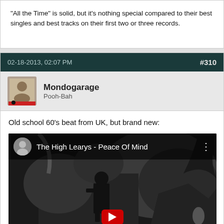"All the Time" is solid, but it's nothing special compared to their best singles and best tracks on their first two or three records.
02-18-2013, 02:07 PM
#310
Mondogarage
Pooh-Bah
Old school 60's beat from UK, but brand new:
[Figure (screenshot): YouTube video thumbnail for 'The High Learys - Peace Of Mind', showing a black and white image of a person outdoors near rocks/trees. A red YouTube play button is visible at the bottom center.]